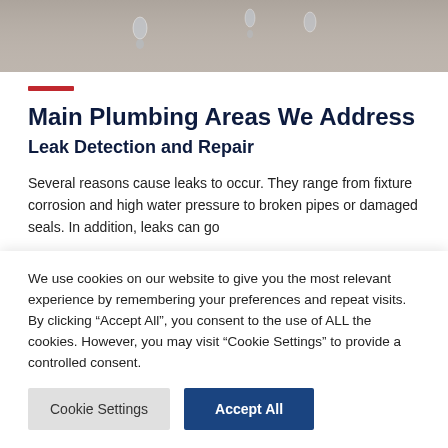[Figure (photo): Hero image of water droplets on a blurred grey/brown background]
Main Plumbing Areas We Address
Leak Detection and Repair
Several reasons cause leaks to occur. They range from fixture corrosion and high water pressure to broken pipes or damaged seals. In addition, leaks can go
We use cookies on our website to give you the most relevant experience by remembering your preferences and repeat visits. By clicking “Accept All”, you consent to the use of ALL the cookies. However, you may visit “Cookie Settings” to provide a controlled consent.
Cookie Settings
Accept All